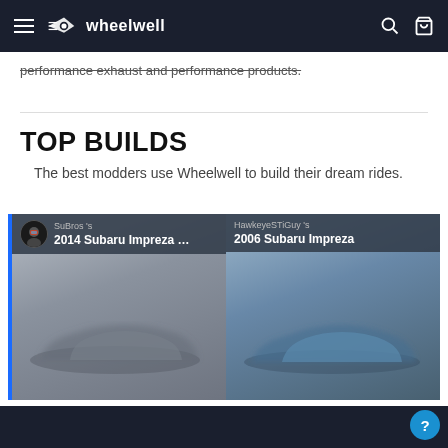wheelwell
performance exhaust and performance products.
TOP BUILDS
The best modders use Wheelwell to build their dream rides.
[Figure (photo): Car build card: SuBros's 2014 Subaru Impreza WRX, blurred gray car photo]
[Figure (photo): Car build card: HawkeyeSTiGuy's 2006 Subaru Impreza, blue car photo]